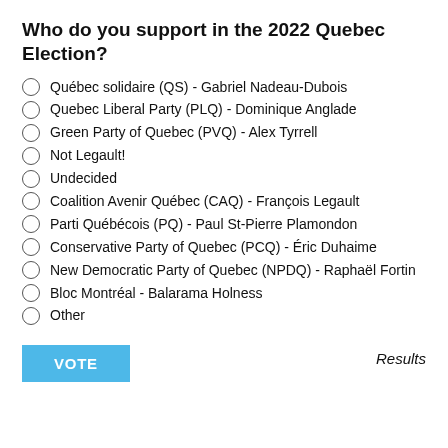Who do you support in the 2022 Quebec Election?
Québec solidaire (QS) - Gabriel Nadeau-Dubois
Quebec Liberal Party (PLQ) - Dominique Anglade
Green Party of Quebec (PVQ) - Alex Tyrrell
Not Legault!
Undecided
Coalition Avenir Québec (CAQ) - François Legault
Parti Québécois (PQ) - Paul St-Pierre Plamondon
Conservative Party of Quebec (PCQ) - Éric Duhaime
New Democratic Party of Quebec (NPDQ) - Raphaël Fortin
Bloc Montréal - Balarama Holness
Other
VOTE
Results